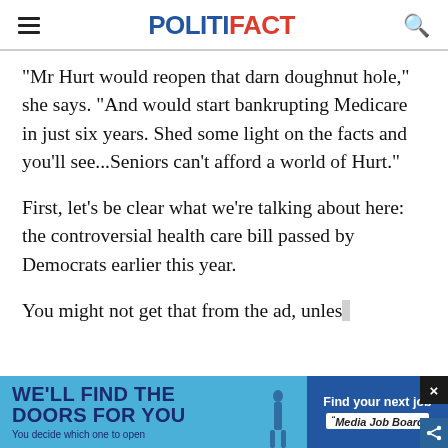POLITIFACT
"Mr Hurt would reopen that darn doughnut hole," she says. "And would start bankrupting Medicare in just six years. Shed some light on the facts and you'll see...Seniors can't afford a world of Hurt."
First, let's be clear what we're talking about here: the controversial health care bill passed by Democrats earlier this year.
You might not get that from the ad, unless caught
[Figure (screenshot): Advertisement banner: 'WE'LL FIND THE DOORS FOR YOU - You decide which one to open' with 'Find your next job' and Media Job Board branding. Close button and share button visible.]